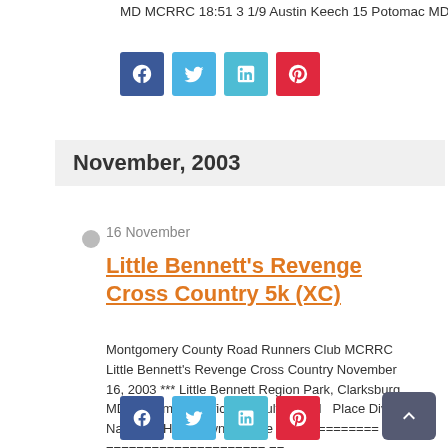MD MCRRC 18:51 3 1/9 Austin Keech 15 Potomac MD …
[Figure (other): Social share buttons: Facebook (blue), Twitter (light blue), LinkedIn (teal), Pinterest (red)]
November, 2003
16 November
Little Bennett's Revenge Cross Country 5k (XC)
Montgomery County Road Runners Club MCRRC Little Bennett's Revenge Cross Country November 16, 2003 *** Little Bennett Region Park, Clarksburg, MD 5 Kilometer Official Results, MEN   Place Div/Tot Name Ag Hometown St Time ===== ======== ===================== == =================== ===== ======== 1 1/20 Joe Abernethy 43 College Park MD MCRRC 17:14 2 1/7 Rob Magin 32 Gaithersburg MD MCRRC 17:20 …
[Figure (other): Social share buttons bottom: Facebook (blue), Twitter (light blue), LinkedIn (teal), Pinterest (red)]